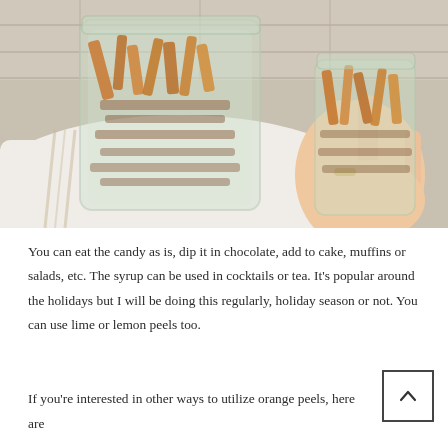[Figure (photo): A hand holding a glass jar filled with candied orange peels, next to a larger jar also filled with candied orange peels, both sitting on a white linen cloth with a tile background.]
You can eat the candy as is, dip it in chocolate, add to cake, muffins or salads, etc. The syrup can be used in cocktails or tea. It's popular around the holidays but I will be doing this regularly, holiday season or not. You can use lime or lemon peels too.
If you're interested in other ways to utilize orange peels, here are